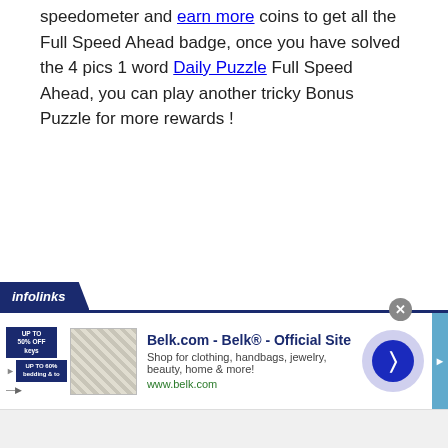speedometer and earn more coins to get all the Full Speed Ahead badge, once you have solved the 4 pics 1 word Daily Puzzle Full Speed Ahead, you can play another tricky Bonus Puzzle for more rewards !
[Figure (other): Infolinks advertisement banner for Belk.com showing store promotions, a product image, ad title 'Belk.com - Belk® - Official Site', description 'Shop for clothing, handbags, jewelry, beauty, home & more!', URL www.belk.com, with a navigation arrow button and close button]